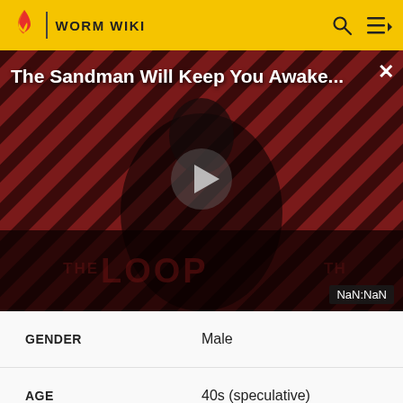WORM WIKI
[Figure (screenshot): Video thumbnail for 'The Sandman Will Keep You Awake...' showing a dark figure in black against red and black diagonal striped background with 'THE LOOP' text and a play button in the center. Shows NaN:NaN timestamp badge.]
| Property | Value |
| --- | --- |
| GENDER | Male |
| AGE | 40s (speculative) |